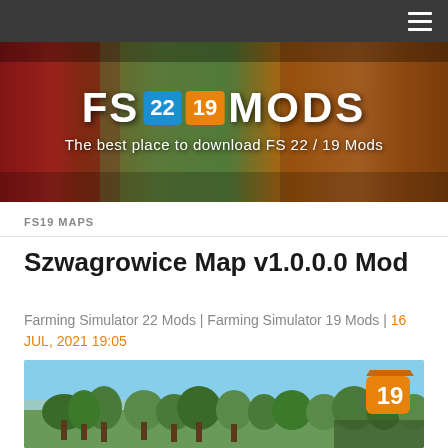FS 22 19 MODS — The best place to download FS 22 / 19 Mods
FS19 MAPS
Szwagrowice Map v1.0.0.0 Mod
Farming Simulator 22 Mods | Farming Simulator 19 Mods | 16 JUL, 2021 19:05
[Figure (screenshot): Screenshot of the Szwagrowice Map showing green countryside with trees and blue sky, with an FS19 badge in the upper right corner]